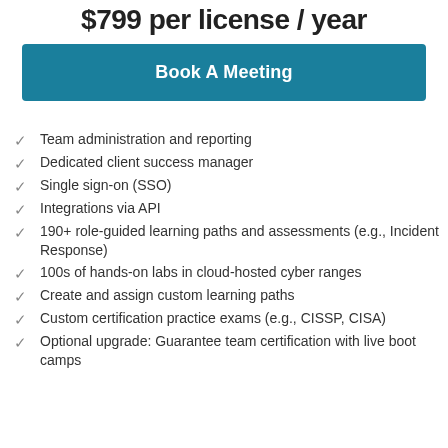$799 per license / year
Book A Meeting
Team administration and reporting
Dedicated client success manager
Single sign-on (SSO)
Integrations via API
190+ role-guided learning paths and assessments (e.g., Incident Response)
100s of hands-on labs in cloud-hosted cyber ranges
Create and assign custom learning paths
Custom certification practice exams (e.g., CISSP, CISA)
Optional upgrade: Guarantee team certification with live boot camps